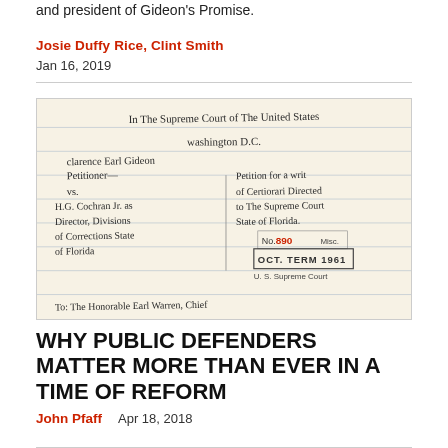and president of Gideon's Promise.
Josie Duffy Rice, Clint Smith
Jan 16, 2019
[Figure (photo): Handwritten petition document: 'In The Supreme Court of The United States, Washington D.C., Clarence Earl Gideon, Petitioner vs. H.G. Cochran Jr., as Director, Divisions of Corrections State of Florida. Petition for a Writ of Certiorari Directed to The Supreme Court State of Florida. No. 890 Misc. Oct. Term 1961. U.S. Supreme Court. To: The Honorable Earl Warren, Chief']
WHY PUBLIC DEFENDERS MATTER MORE THAN EVER IN A TIME OF REFORM
John Pfaff
Apr 18, 2018